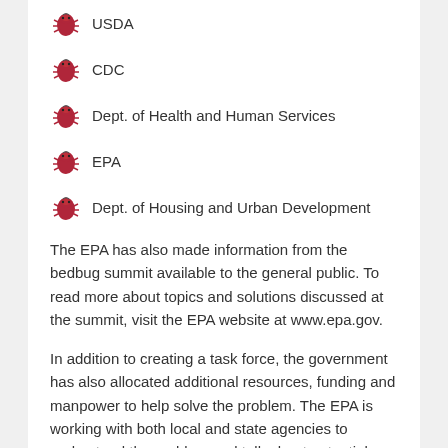USDA
CDC
Dept. of Health and Human Services
EPA
Dept. of Housing and Urban Development
The EPA has also made information from the bedbug summit available to the general public. To read more about topics and solutions discussed at the summit, visit the EPA website at www.epa.gov.
In addition to creating a task force, the government has also allocated additional resources, funding and manpower to help solve the problem. The EPA is working with both local and state agencies to understand the problem and talk about potential solutions.
Myths and Additional